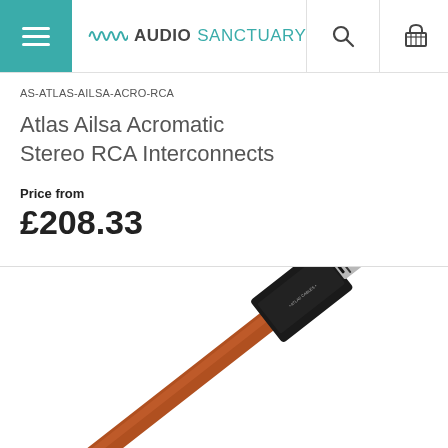Audio Sanctuary
AS-ATLAS-AILSA-ACRO-RCA
Atlas Ailsa Acromatic Stereo RCA Interconnects
Price from £208.33
[Figure (photo): Close-up photograph of an audio RCA interconnect cable with a black connector head and brown/copper cable body, shown diagonally against a white background.]